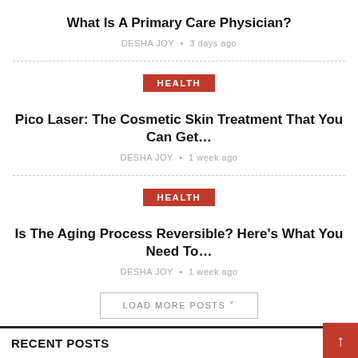What Is A Primary Care Physician?
DESHA JOY • 3 days ago
HEALTH
Pico Laser: The Cosmetic Skin Treatment That You Can Get…
DESHA JOY • 1 week ago
HEALTH
Is The Aging Process Reversible? Here's What You Need To…
DESHA JOY • 1 week ago
LOAD MORE POSTS ˅
RECENT POSTS